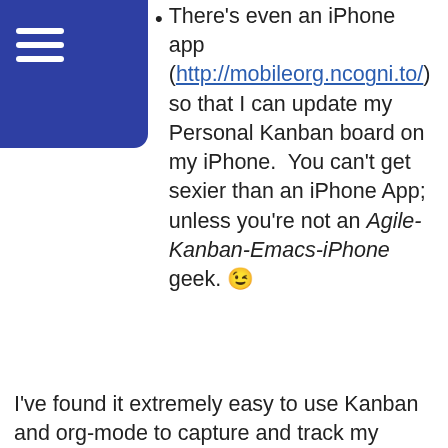[Figure (other): Blue navigation bar with hamburger menu icon in top-left corner]
There's even an iPhone app (http://mobileorg.ncogni.to/) so that I can update my Personal Kanban board on my iPhone.  You can't get sexier than an iPhone App; unless you're not an Agile-Kanban-Emacs-iPhone geek. 😉
I've found it extremely easy to use Kanban and org-mode to capture and track my work.   If you're a power org-mode user and can suggest other features of org-mode that would be useful in this context — I'd be all ears.
POMODORO MEET EMACS
Just to be clear.  I've been in management for over 15 years, and I pride myself in that I've never micro-managed anyone that I've supervised (for those of you who I have worked with, here's your opportunity...